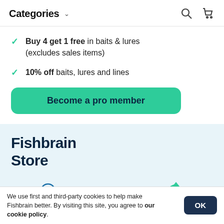Categories
Buy 4 get 1 free in baits & lures (excludes sales items)
10% off baits, lures and lines
Become a pro member
Fishbrain Store
[Figure (illustration): Three icons: a trophy/award icon, a stopwatch with speed lines, and a circular return/package icon]
We use first and third-party cookies to help make Fishbrain better. By visiting this site, you agree to our cookie policy.